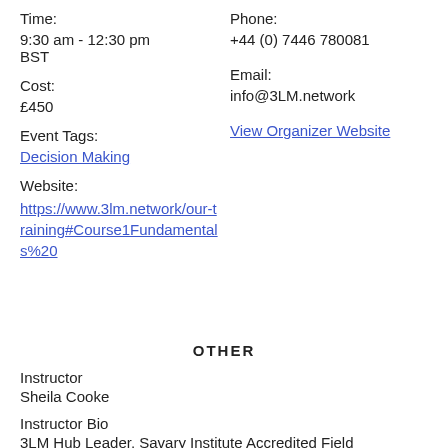Time:
9:30 am - 12:30 pm
BST
Cost:
£450
Event Tags:
Decision Making
Website:
https://www.3lm.network/our-training#Course1Fundamentals%20
Phone:
+44 (0) 7446 780081
Email:
info@3LM.network
View Organizer Website
OTHER
Instructor
Sheila Cooke
Instructor Bio
3LM Hub Leader, Savary Institute Accredited Field